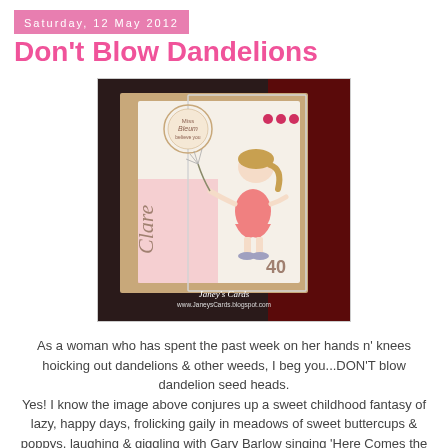Saturday, 12 May 2012
Don't Blow Dandelions
[Figure (photo): A handmade birthday card for Clare's 40th birthday featuring a cartoon girl blowing a dandelion, wearing a pink dress, with the name 'Clare' and number '40' on the card. Watermark reads 'Janey's Cards www.JaneysCards.blogspot.com'.]
As a woman who has spent the past week on her hands n' knees hoicking out dandelions & other weeds, I beg you...DON'T blow dandelion seed heads.
Yes! I know the image above conjures up a sweet childhood fantasy of lazy, happy days, frolicking gaily in meadows of sweet buttercups & poppys, laughing & giggling with Gary Barlow singing 'Here Comes the Sun' at the campfire.